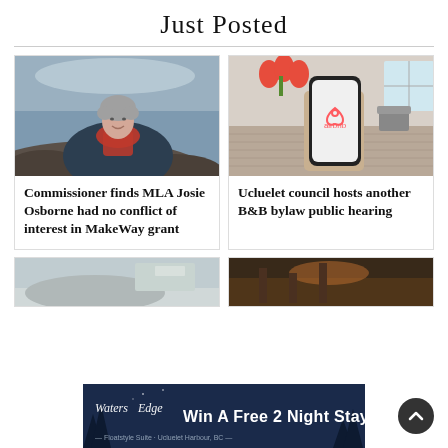Just Posted
[Figure (photo): Woman with short grey hair smiling outdoors by rocky water, wearing dark jacket with red scarf]
Commissioner finds MLA Josie Osborne had no conflict of interest in MakeWay grant
[Figure (photo): Hand holding a smartphone displaying the Airbnb logo, with a modern apartment interior in the background]
Ucluelet council hosts another B&B bylaw public hearing
[Figure (photo): Partially visible image at bottom left, appears to be a landscape or document]
[Figure (photo): Partially visible image at bottom right, appears to be an interior or gathering scene]
[Figure (other): Waters Edge advertisement banner: Win A Free 2 Night Stay]